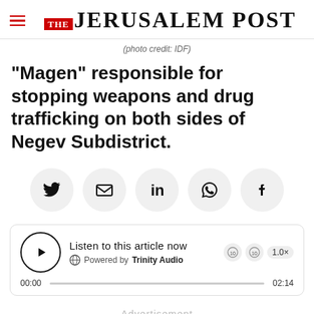THE JERUSALEM POST
(photo credit: IDF)
"Magen" responsible for stopping weapons and drug trafficking on both sides of Negev Subdistrict.
[Figure (infographic): Social share buttons row: Twitter, Email, LinkedIn, WhatsApp, Facebook]
[Figure (infographic): Audio player: Listen to this article now, Powered by Trinity Audio, 00:00 / 02:14, 1.0x speed]
Advertisement